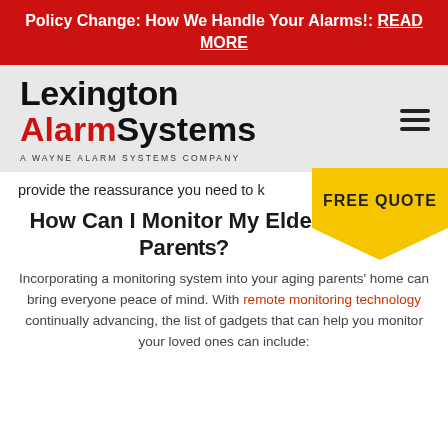Policy Change: How We Handle Your Alarms!: READ MORE
[Figure (logo): Lexington Alarm Systems logo with tagline 'A WAYNE ALARM SYSTEMS COMPANY' and hamburger menu icon]
provide the reassurance you need to k...
[Figure (other): FREE QUOTE yellow badge/ribbon button]
How Can I Monitor My Elderly Par...?
Incorporating a monitoring system into your aging parents' home can bring everyone peace of mind. With remote monitoring technology continually advancing, the list of gadgets that can help you monitor your loved ones can include: